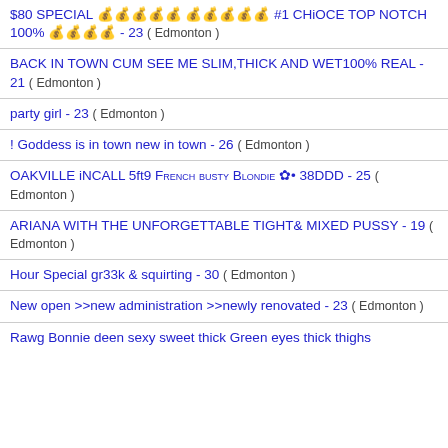$80 SPECIAL 💰💰💰💰💰 💰💰💰💰💰 #1 CHiOCE TOP NOTCH 100% 💰💰💰💰 - 23 ( Edmonton )
BACK IN TOWN CUM SEE ME SLIM,THICK AND WET100% REAL - 21 ( Edmonton )
party girl - 23 ( Edmonton )
! Goddess is in town new in town - 26 ( Edmonton )
OAKVILLE iNCALL 5ft9 French busty Blondie ✿• 38DDD - 25 ( Edmonton )
ARIANA WITH THE UNFORGETTABLE TIGHT& MIXED PUSSY - 19 ( Edmonton )
Hour Special gr33k & squirting - 30 ( Edmonton )
New open >>new administration >>newly renovated - 23 ( Edmonton )
Rawg Bonnie deen sexy sweet thick Green eyes thick thighs